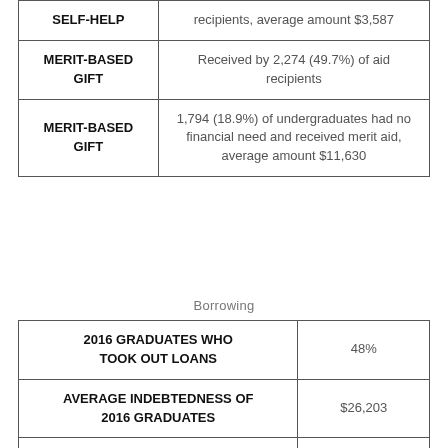| Category | Detail |
| --- | --- |
| SELF-HELP | recipients, average amount $3,587 |
| MERIT-BASED GIFT | Received by 2,274 (49.7%) of aid recipients |
| MERIT-BASED GIFT | 1,794 (18.9%) of undergraduates had no financial need and received merit aid, average amount $11,630 |
Borrowing
| Category | Value |
| --- | --- |
| 2016 GRADUATES WHO TOOK OUT LOANS | 48% |
| AVERAGE INDEBTEDNESS OF 2016 GRADUATES | $26,203 |
| PARENTS BORROWING PLUS LOANS |  |